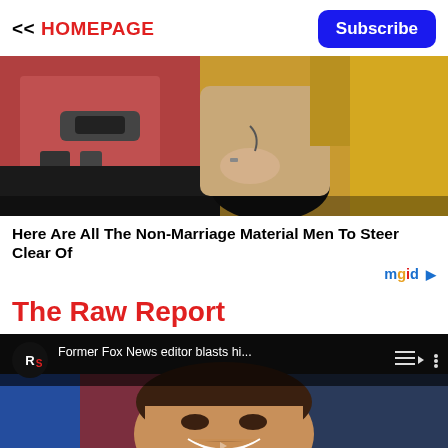<< HOMEPAGE | Subscribe
[Figure (photo): Person sitting in a yellow car with red interior, wearing a beige outfit, photographed from outside the open door.]
Here Are All The Non-Marriage Material Men To Steer Clear Of
mgid
The Raw Report
[Figure (screenshot): Video player thumbnail showing a man laughing at a microphone with RS channel logo and title 'Former Fox News editor blasts hi...']